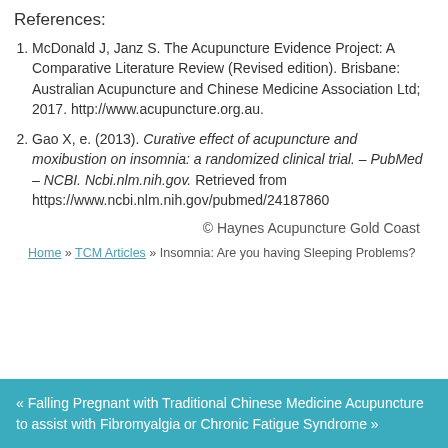References:
McDonald J, Janz S. The Acupuncture Evidence Project: A Comparative Literature Review (Revised edition). Brisbane: Australian Acupuncture and Chinese Medicine Association Ltd; 2017. http://www.acupuncture.org.au.
Gao X, e. (2013). Curative effect of acupuncture and moxibustion on insomnia: a randomized clinical trial. – PubMed – NCBI. Ncbi.nlm.nih.gov. Retrieved from https://www.ncbi.nlm.nih.gov/pubmed/24187860
© Haynes Acupuncture Gold Coast
Home » TCM Articles » Insomnia: Are you having Sleeping Problems?
« Falling Pregnant with Traditional Chinese Medicine Acupuncture to assist with Fibromyalgia or Chronic Fatigue Syndrome »